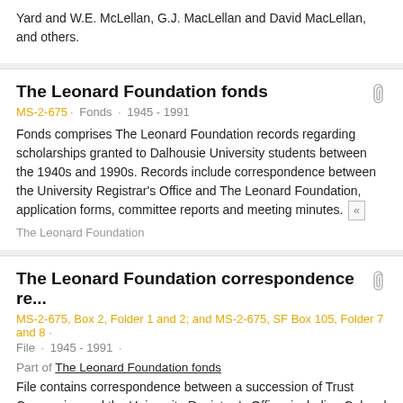Yard and W.E. McLellan, G.J. MacLellan and David MacLellan, and others.
The Leonard Foundation fonds
MS-2-675 · Fonds · 1945 - 1991
Fonds comprises The Leonard Foundation records regarding scholarships granted to Dalhousie University students between the 1940s and 1990s. Records include correspondence between the University Registrar's Office and The Leonard Foundation, application forms, committee reports and meeting minutes.
The Leonard Foundation
The Leonard Foundation correspondence re...
MS-2-675, Box 2, Folder 1 and 2; and MS-2-675, SF Box 105, Folder 7 and 8 ·
File · 1945 - 1991 ·
Part of The Leonard Foundation fonds
File contains correspondence between a succession of Trust Companies and the University Registrar's Office, including Colonel K.C. Laurie, Eric B. Mercer, the Toronto General Trusts Corporation, Canada Permanent Trust, and others.